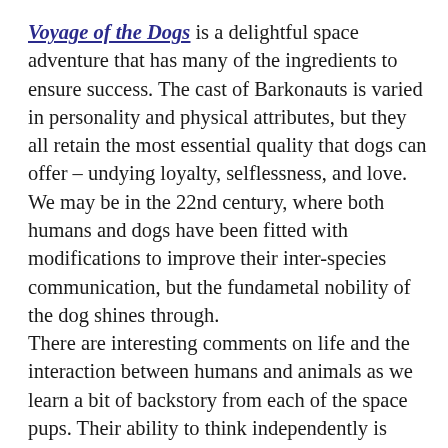Voyage of the Dogs is a delightful space adventure that has many of the ingredients to ensure success. The cast of Barkonauts is varied in personality and physical attributes, but they all retain the most essential quality that dogs can offer – undying loyalty, selflessness, and love. We may be in the 22nd century, where both humans and dogs have been fitted with modifications to improve their inter-species communication, but the fundametal nobility of the dog shines through. There are interesting comments on life and the interaction between humans and animals as we learn a bit of backstory from each of the space pups. Their ability to think independently is prized in this situation, but their pack love is strong. We also learn some interesting facts about space – sufficient to carry the plot without making us scratch our chins about how possible/impossible